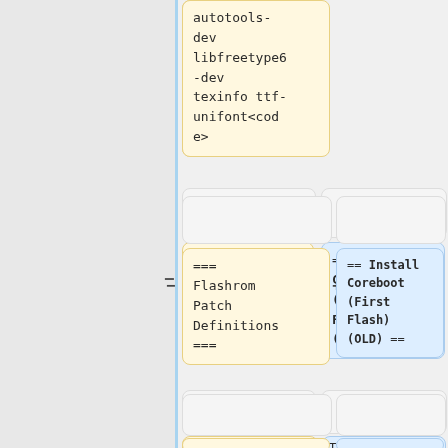autotools-dev libfreetype6-dev texinfo ttf-unifont</code>
=== Flashrom Patch Definitions ===
== Install Coreboot (First Flash) (OLD) ==
: ''Source: [https://github.com/bibanon/Coreboot
The initial flash will write coreboot to the flash